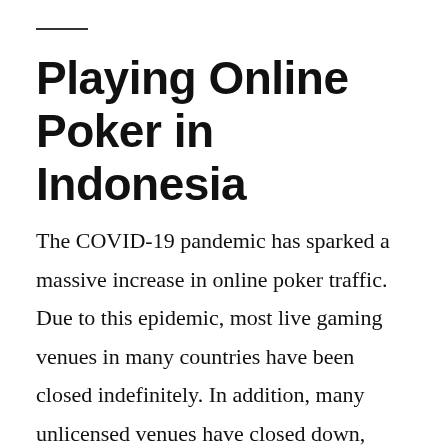Playing Online Poker in Indonesia
The COVID-19 pandemic has sparked a massive increase in online poker traffic. Due to this epidemic, most live gaming venues in many countries have been closed indefinitely. In addition, many unlicensed venues have closed down, causing an abrupt shortage of entertainment options for locals. As a result,